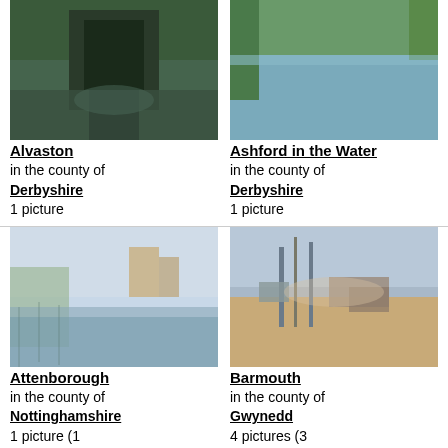[Figure (photo): Flooded area with a structure reflected in dark water - Alvaston]
Alvaston
in the county of Derbyshire
1 picture
[Figure (photo): River with green banks and vegetation - Ashford in the Water]
Ashford in the Water
in the county of Derbyshire
1 picture
[Figure (photo): Lakeside or riverside scene at dusk with trees - Attenborough]
Attenborough
in the county of Nottinghamshire
1 picture (1 comment)
[Figure (photo): Boats moored on sandy estuary - Barmouth]
Barmouth
in the county of Gwynedd
4 pictures (3 comments)
[Figure (photo): Sky with clouds over flat landscape]
[Figure (photo): Red brick church building with tower]